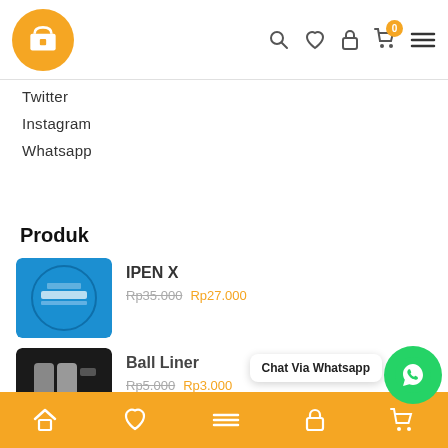[Figure (logo): Orange circular logo with white store/shop icon]
Twitter
Instagram
Whatsapp
Produk
[Figure (photo): Product image: IPEN X with blue circular logo]
IPEN X — Rp35.000 Rp27.000
[Figure (photo): Product image: Ball Liner in dark packaging]
Ball Liner — Rp5.000 Rp3.000
[Figure (photo): Product image: iPhone x pro in gray/silver]
Iphone x pro — Rp1.300.000 Rp10.000
Chat Via Whatsapp
Home | Wishlist | Menu | Lock | Cart